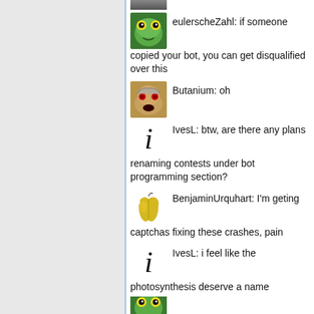[Figure (screenshot): Chat interface screenshot showing multiple user messages with avatars]
eulerscheZahl: if someone copied your bot, you can get disqualified over this
Butanium: oh
IvesL: btw, are there any plans renaming contests under bot programming section?
BenjaminUrquhart: I'm geting captchas fixing these crashes, pain
IvesL: i feel like the photosynthesis deserve a name